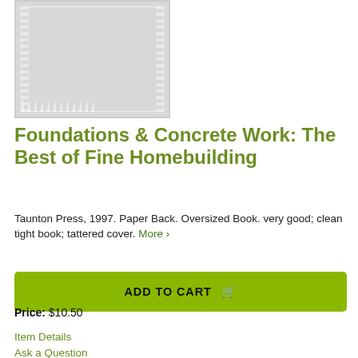[Figure (photo): Book cover image placeholder — light gray rectangle with decorative white border pattern]
Foundations & Concrete Work: The Best of Fine Homebuilding
Taunton Press, 1997. Paper Back. Oversized Book. very good; clean tight book; tattered cover. More ›
ADD TO CART
Price: $10.50
Item Details
Ask a Question